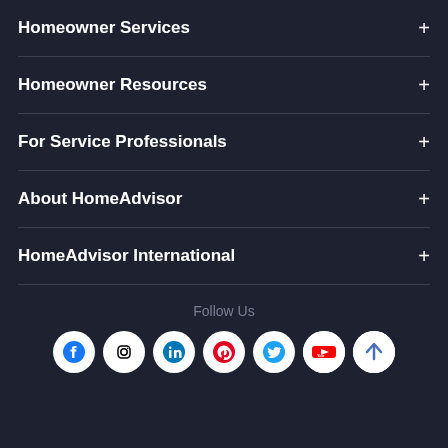Homeowner Services +
Homeowner Resources +
For Service Professionals +
About HomeAdvisor +
HomeAdvisor International +
Follow Us
[Figure (infographic): Social media icons row: Facebook, Instagram, LinkedIn, Pinterest, Twitter, YouTube, and an up-arrow scroll button]